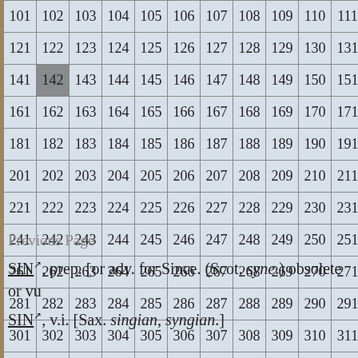| 101 | 102 | 103 | 104 | 105 | 106 | 107 | 108 | 109 | 110 | 111 |
| 121 | 122 | 123 | 124 | 125 | 126 | 127 | 128 | 129 | 130 | 131 |
| 141 | 142 | 143 | 144 | 145 | 146 | 147 | 148 | 149 | 150 | 151 |
| 161 | 162 | 163 | 164 | 165 | 166 | 167 | 168 | 169 | 170 | 171 |
| 181 | 182 | 183 | 184 | 185 | 186 | 187 | 188 | 189 | 190 | 191 |
| 201 | 202 | 203 | 204 | 205 | 206 | 207 | 208 | 209 | 210 | 211 |
| 221 | 222 | 223 | 224 | 225 | 226 | 227 | 228 | 229 | 230 | 231 |
| 241 | 242 | 243 | 244 | 245 | 246 | 247 | 248 | 249 | 250 | 251 |
| 261 | 262 | 263 | 264 | 265 | 266 | 267 | 268 | 269 | 270 | 271 |
| 281 | 282 | 283 | 284 | 285 | 286 | 287 | 288 | 289 | 290 | 291 |
| 301 | 302 | 303 | 304 | 305 | 306 | 307 | 308 | 309 | 310 | 311 |
| 321 | 322 | 323 | 324 | 325 | 326 | 327 | 328 | 329 | 330 | 331 |
| 341 | 342 | 343 | 344 | 345 | 346 | 347 | 348 | 349 | 350 | 351 |
| 361 | 362 | 363 | 364 |  |  |  |  |  |  |  |
Previous Page
SIN, prep. [or adv. for Since. (Scot. syne.) obsolete or vu
SIN, v.i. [Sax. singian, syngian.]